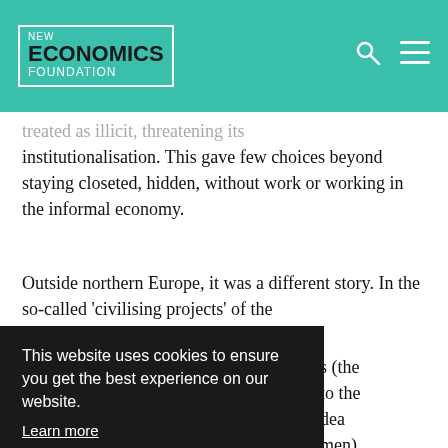NEW ECONOMICS FOUNDATION
treated as illicit, threatening its institutionalisation. This gave few choices beyond staying closeted, hidden, without work or working in the informal economy.
Outside northern Europe, it was a different story. In the so-called 'civilising projects' of the ... (the ... to the ... idea ... men) ... and
This website uses cookies to ensure you get the best experience on our website.
Learn more
Got it!
...providing (with